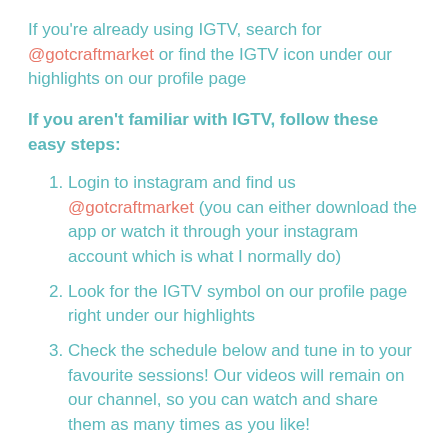If you're already using IGTV, search for @gotcraftmarket or find the IGTV icon under our highlights on our profile page
If you aren't familiar with IGTV, follow these easy steps:
Login to instagram and find us @gotcraftmarket (you can either download the app or watch it through your instagram account which is what I normally do)
Look for the IGTV symbol on our profile page right under our highlights
Check the schedule below and tune in to your favourite sessions! Our videos will remain on our channel, so you can watch and share them as many times as you like!
***